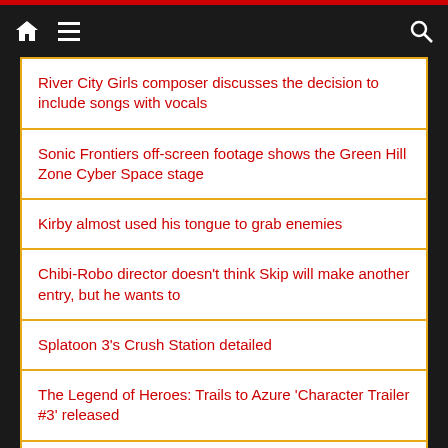Navigation bar with home, menu, and search icons
River City Girls composer discusses the decision to include songs with vocals
Sonic Frontiers off-screen footage shows the Green Hill Zone Cyber Space stage
Kirby almost used his tongue to grab enemies
Chibi-Robo director doesn't think Skip will make another entry, but he wants to
Splatoon 3's Crush Station detailed
The Legend of Heroes: Trails to Azure 'Character Trailer #3' released
tERRORbane's next update detailed, expected to launch sometime around mid-September 2022